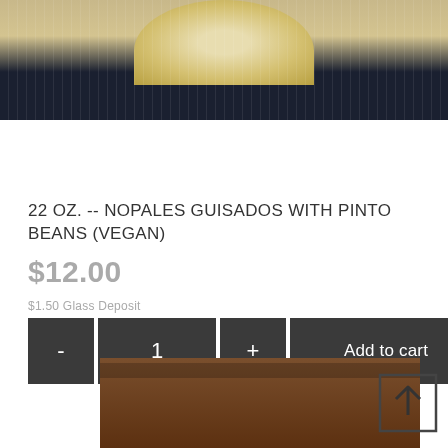[Figure (photo): Top portion of a product photo showing a bowl with woven textile background, dark navy fabric with white thread pattern]
22 OZ. -- NOPALES GUISADOS WITH PINTO BEANS (VEGAN)
$12.00
$1.50 Glass Deposit
- 1 + Add to cart
[Figure (photo): Bottom portion showing bamboo or wooden sticks/rods in warm brown tones, with a scroll-to-top arrow icon overlay]